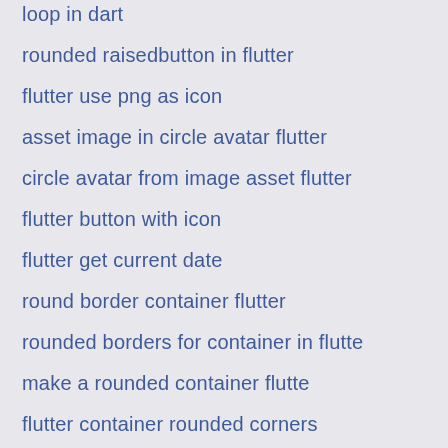loop in dart
rounded raisedbutton in flutter
flutter use png as icon
asset image in circle avatar flutter
circle avatar from image asset flutter
flutter button with icon
flutter get current date
round border container flutter
rounded borders for container in flutte
make a rounded container flutte
flutter container rounded corners
underline text in flutter
TextStyle underline flutter
flutter list tile